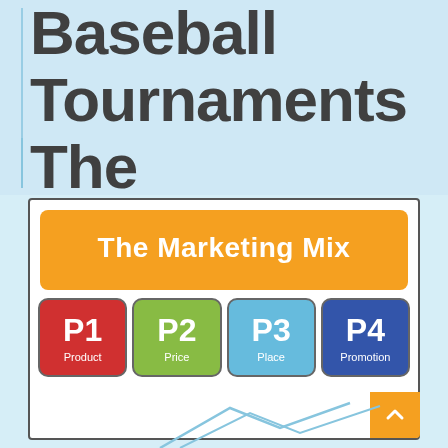Baseball Tournaments The Right Way
[Figure (infographic): The Marketing Mix infographic showing orange header banner labeled 'The Marketing Mix' and four colored cards below: P1 Product (red), P2 Price (green), P3 Place (light blue), P4 Promotion (navy blue)]